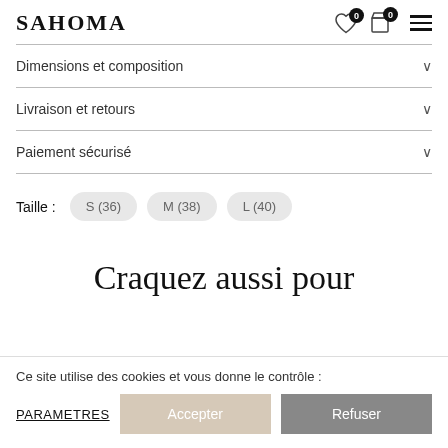SAHOMA
Dimensions et composition
Livraison et retours
Paiement sécurisé
Taille : S (36)  M (38)  L (40)
Craquez aussi pour
Ce site utilise des cookies et vous donne le contrôle :
PARAMETRES   Accepter   Refuser